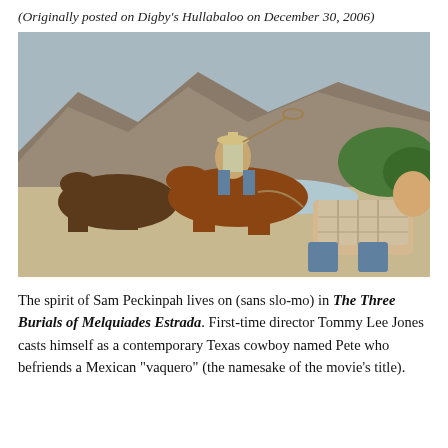(Originally posted on Digby's Hullabaloo on December 30, 2006)
[Figure (photo): Scene from The Three Burials of Melquiades Estrada: a cowboy on horseback swinging a lasso over a man kneeling in the dirt near a rocky riverbank.]
The spirit of Sam Peckinpah lives on (sans slo-mo) in The Three Burials of Melquiades Estrada. First-time director Tommy Lee Jones casts himself as a contemporary Texas cowboy named Pete who befriends a Mexican “vaquero” (the namesake of the movie’s title).